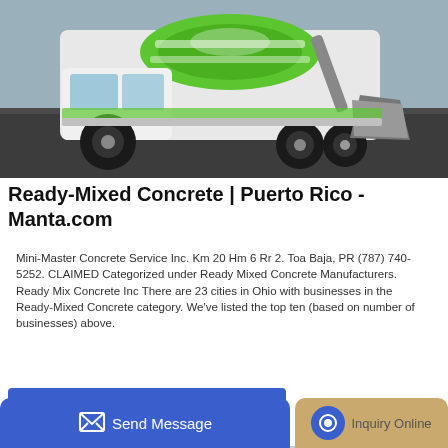[Figure (photo): Green and white concrete mixer truck / self-loading mixer on asphalt surface, photographed from the front-left angle.]
Ready-Mixed Concrete | Puerto Rico - Manta.com
Mini-Master Concrete Service Inc. Km 20 Hm 6 Rr 2. Toa Baja, PR (787) 740-5252. CLAIMED Categorized under Ready Mixed Concrete Manufacturers. Ready Mix Concrete Inc There are 23 cities in Ohio with businesses in the Ready-Mixed Concrete category. We've listed the top ten (based on number of businesses) above.
[Figure (screenshot): Blue GET A QUOTE button]
[Figure (photo): Partial bottom image of machinery/vehicle, partially obscured by bottom UI bar]
Send Message
Inquiry Online